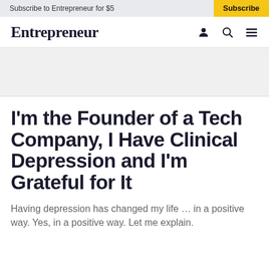Subscribe to Entrepreneur for $5
Subscribe
Entrepreneur
I'm the Founder of a Tech Company, I Have Clinical Depression and I'm Grateful for It
Having depression has changed my life … in a positive way. Yes, in a positive way. Let me explain.